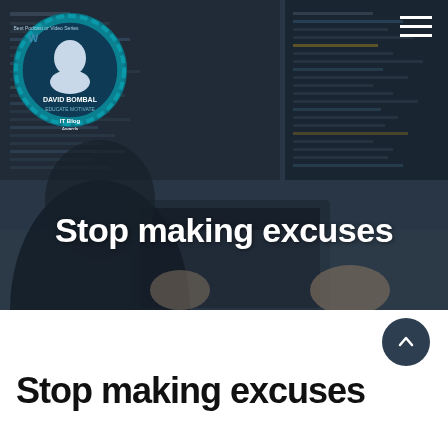[Figure (screenshot): Hero banner image: person working at a computer/laptop with code on screens, dark overlay, with 'David Bombal' logo badge in top-left and hamburger menu in top-right. Bold white text 'Stop making excuses' overlaid in the center-bottom area.]
Stop making excuses